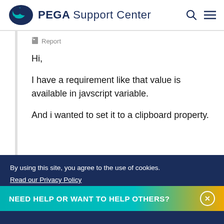PEGA Support Center
🚩 Report
Hi,

I have a requirement like that value is available in javscript variable.

And i wanted to set it to a clipboard property.
By using this site, you agree to the use of cookies. Read our Privacy Policy
Accept and continue   About cookies
NEED HELP OR WANT TO HELP OTHERS?